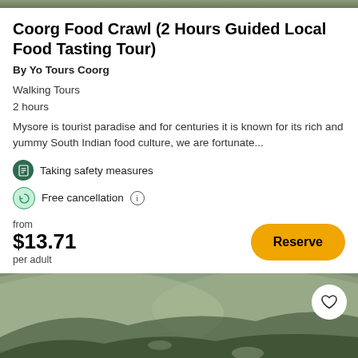[Figure (photo): Top image strip showing a partial landscape/nature scene]
Coorg Food Crawl (2 Hours Guided Local Food Tasting Tour)
By Yo Tours Coorg
Walking Tours
2 hours
Mysore is tourist paradise and for centuries it is known for its rich and yummy South Indian food culture, we are fortunate...
Taking safety measures
Free cancellation
from $13.71 per adult
[Figure (photo): Aerial landscape photo of Coorg hills and forest valley with a heart/favorite button overlay]